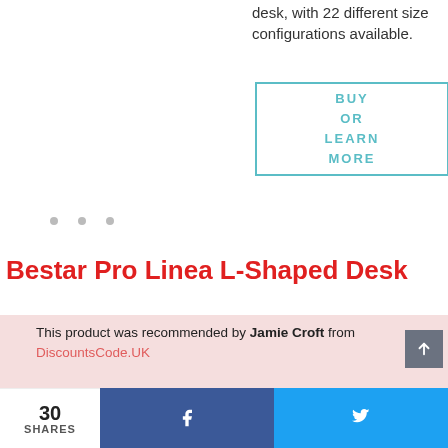desk, with 22 different size configurations available.
[Figure (other): BUY OR LEARN MORE button with teal border]
[Figure (other): Three navigation dots (carousel indicators)]
Bestar Pro Linea L-Shaped Desk
This product was recommended by Jamie Croft from DiscountsCode.UK
30 SHARES | Facebook share | Twitter share